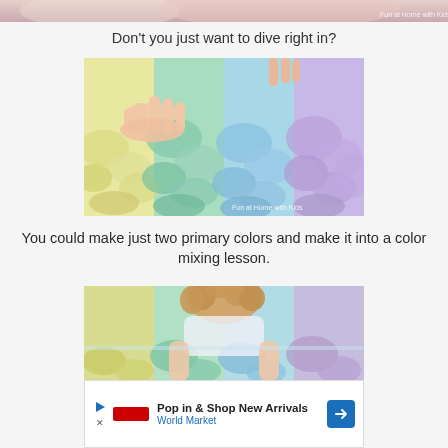[Figure (photo): Cropped top of a photo showing colorful cotton candy or fluffy material in a plastic bin with 'Fun at Home with Kids' watermark]
Don't you just want to dive right in?
[Figure (photo): Child's hands pressing into colorful pastel fluffy clouds (yellow, mint, blue, purple) in a clear plastic container. Watermark 'Fun at Home with Kids' in bottom right.]
You could make just two primary colors and make it into a color mixing lesson.
[Figure (photo): Child with curly blonde hair leaning over a clear plastic bin filled with colorful pastel fluffy material in yellow, mint, blue, and purple sections.]
Pop in & Shop New Arrivals World Market